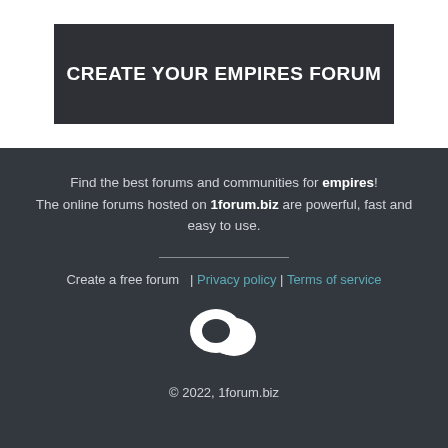CREATE YOUR EMPIRES FORUM
Find the best forums and communities for empires! The online forums hosted on 1forum.biz are powerful, fast and easy to use.
Create a free forum  | Privacy policy | Terms of service
[Figure (illustration): Two overlapping speech bubble icons in white, representing forum/chat.]
© 2022, 1forum.biz